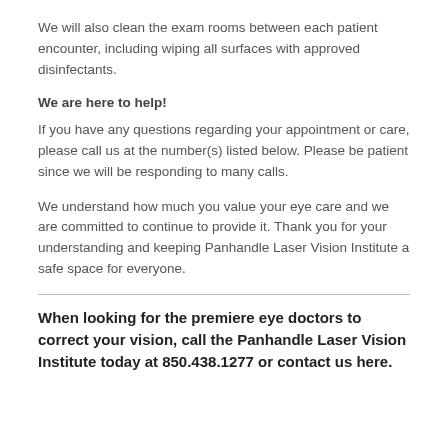We will also clean the exam rooms between each patient encounter, including wiping all surfaces with approved disinfectants.
We are here to help!
If you have any questions regarding your appointment or care, please call us at the number(s) listed below. Please be patient since we will be responding to many calls.
We understand how much you value your eye care and we are committed to continue to provide it. Thank you for your understanding and keeping Panhandle Laser Vision Institute a safe space for everyone.
When looking for the premiere eye doctors to correct your vision, call the Panhandle Laser Vision Institute today at 850.438.1277 or contact us here.